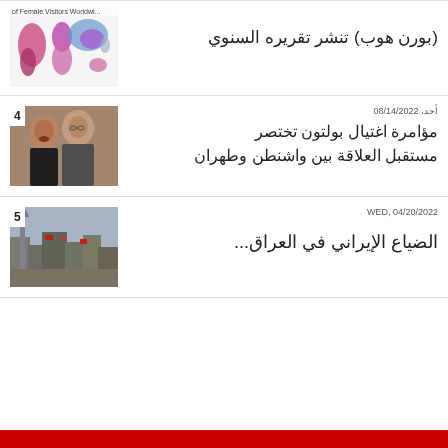[Figure (map): World map showing female visitors worldwide, colored in pink/purple/blue tones]
(بورن هوب) تنشر تقريره السنوي
[Figure (photo): Two men in suits, political figures, one with glasses]
أحد، 08/14/2022
مؤامرة اغتيال بولتون تختصر مستقبل العلاقة بين واشنطن وطهران
[Figure (photo): City buildings with flags and banners]
WED, 04/20/2022
الضياع الإيراني في العراق...